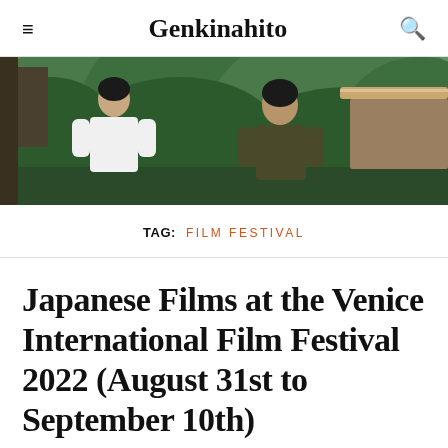Genkinahito
[Figure (photo): Two young men standing outdoors near a forested hillside. One wears a white long-sleeve shirt, the other a dark olive shirt. Part of a vehicle is visible on the right.]
TAG: FILM FESTIVAL
Japanese Films at the Venice International Film Festival 2022 (August 31st to September 10th)